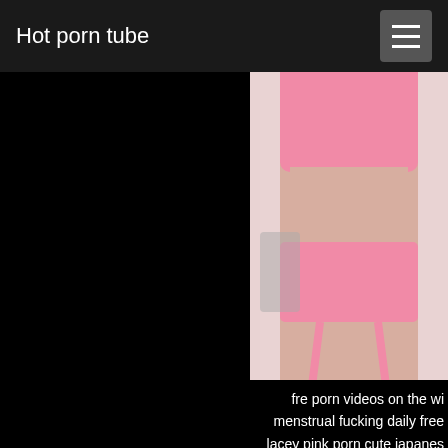Hot porn tube
[Figure (photo): Woman in pink lingerie set including bra, garter belt, and stockings, photographed from neck to thighs against a light background with a decorative figure visible]
fre porn videos on the wi menstrual fucking daily free lacey pink porn cute japanes gay guys list porn std and po marina sharapova porn p
Permalink Devils Film Isiah Max Brown, Slim Poke